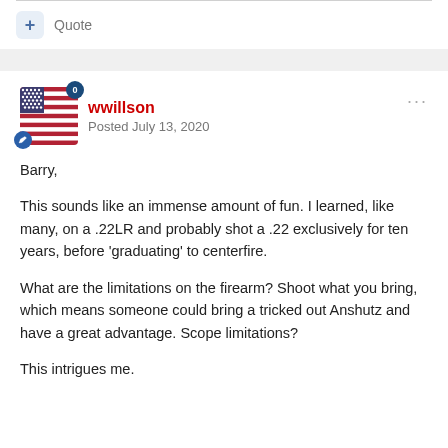+ Quote
wwillson
Posted July 13, 2020
Barry,

This sounds like an immense amount of fun.  I learned, like many, on a .22LR and probably shot a .22 exclusively for ten years, before 'graduating' to centerfire.

What are the limitations on the firearm?  Shoot what you bring, which means someone could bring a tricked out Anshutz and have a great advantage.  Scope limitations?

This intrigues me.